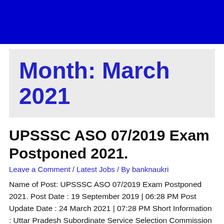Month: March 2021
UPSSSC ASO 07/2019 Exam Postponed 2021.
Leave a Comment / Latest Jobs / By banknaukri
Name of Post: UPSSSC ASO 07/2019 Exam Postponed 2021. Post Date : 19 September 2019 | 06:28 PM Post Update Date : 24 March 2021 | 07:28 PM Short Information : Uttar Pradesh Subordinate Service Selection Commission (UPSSSC, Lucknow) Are Recently Uploaded Exam Date for the Statistical Officer Post